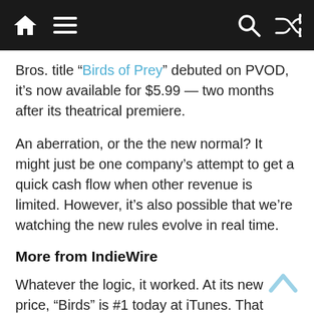Navigation bar with home, menu, search, and shuffle icons
Bros. title “Birds of Prey” debuted on PVOD, it’s now available for $5.99 — two months after its theatrical premiere.
An aberration, or the the new normal? It might just be one company’s attempt to get a quick cash flow when other revenue is limited. However, it’s also possible that we’re watching the new rules evolve in real time.
More from IndieWire
Whatever the logic, it worked. At its new price, “Birds” is #1 today at iTunes. That comes after its initial premium release at #2, then placing lower in the top 10 for six more days.